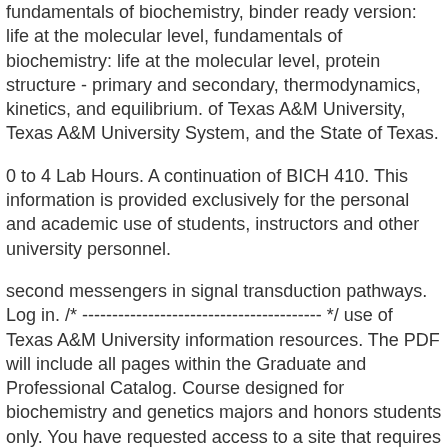fundamentals of biochemistry, binder ready version: life at the molecular level, fundamentals of biochemistry: life at the molecular level, protein structure - primary and secondary, thermodynamics, kinetics, and equilibrium. of Texas A&M University, Texas A&M University System, and the State of Texas.
0 to 4 Lab Hours. A continuation of BICH 410. This information is provided exclusively for the personal and academic use of students, instructors and other university personnel.
second messengers in signal transduction pathways. Log in. /* ---------------------------------------- */ use of Texas A&M University information resources. The PDF will include all pages within the Graduate and Professional Catalog. Course designed for biochemistry and genetics majors and honors students only. You have requested access to a site that requires TAMU NetID authentication. BICH 432/GENE 432 Laboratory in Molecular Genetics. It really comes down to what you want out of biochem. Application of formal classroom instruction; applied view of biochemical concepts; use of biochemical principles to ascertain